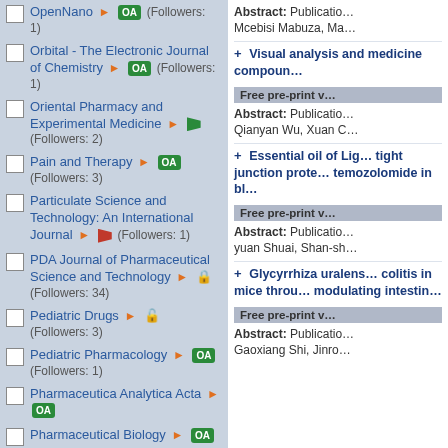OpenNano ► OA (Followers: 1)
Orbital - The Electronic Journal of Chemistry ► OA (Followers: 1)
Oriental Pharmacy and Experimental Medicine ► [flag] (Followers: 2)
Pain and Therapy ► OA (Followers: 3)
Particulate Science and Technology: An International Journal ► [flag-red] (Followers: 1)
PDA Journal of Pharmaceutical Science and Technology ► [lock] (Followers: 34)
Pediatric Drugs ► [lock] (Followers: 3)
Pediatric Pharmacology ► OA (Followers: 1)
Pharmaceutica Analytica Acta ► OA (Followers: 1)
Pharmaceutical Biology ► OA
Abstract: Publication... Mcebisi Mabuza, Ma...
Visual analysis and medicine compoun...
Free pre-print v...
Abstract: Publication... Qianyan Wu, Xuan C...
Essential oil of Lig... tight junction prote... temozolomide in bl...
Free pre-print v...
Abstract: Publication... yuan Shuai, Shan-sh...
Glycyrrhiza ualens... colitis in mice throu... modulating intestin...
Free pre-print v...
Abstract: Publication... Gaoxiang Shi, Jinro...